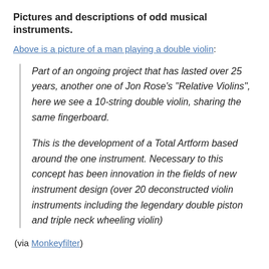Pictures and descriptions of odd musical instruments.
Above is a picture of a man playing a double violin:
Part of an ongoing project that has lasted over 25 years, another one of Jon Rose's “Relative Violins”, here we see a 10-string double violin, sharing the same fingerboard.

This is the development of a Total Artform based around the one instrument. Necessary to this concept has been innovation in the fields of new instrument design (over 20 deconstructed violin instruments including the legendary double piston and triple neck wheeling violin)
(via Monkeyfilter)